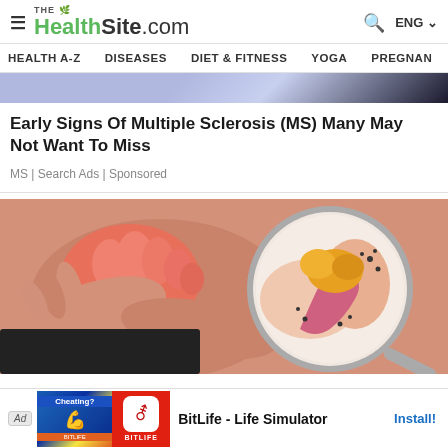THE HealthSite.com | HEALTH A-Z | DISEASES | DIET & FITNESS | YOGA | PREGNAN
[Figure (screenshot): Partial image strip at top showing a health-related illustration]
Early Signs Of Multiple Sclerosis (MS) Many May Not Want To Miss
MS | Search Ads | Sponsored
[Figure (photo): Photo showing hands holding an inflamed foot with a magnified medical illustration overlay showing a joint or tissue inflammation]
[Figure (screenshot): Advertisement banner: Ad label, BitLife app icon, BitLife - Life Simulator, Install button]